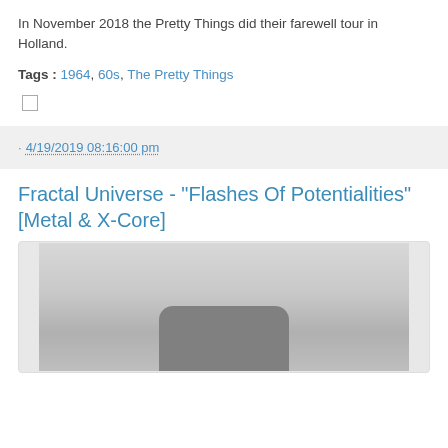In November 2018 the Pretty Things did their farewell tour in Holland.
Tags : 1964, 60s, The Pretty Things
. 4/19/2019 08:16:00 pm
Fractal Universe - "Flashes Of Potentialities" [Metal & X-Core]
[Figure (photo): Grayscale image, partially visible, showing a dark rounded rectangular shape against a light gray background.]